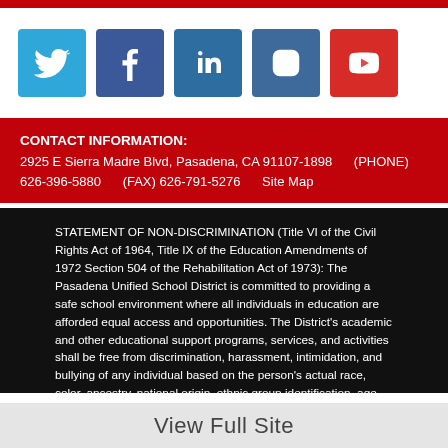[Figure (infographic): Social media icons row: Twitter (blue), Facebook (dark blue), LinkedIn (blue), Instagram (blue-gray), YouTube (red)]
CONTACT INFORMATION:
2925 E Sierra Madre Blvd, Pasadena, CA 91107-1898     (PHONE) 626-396-5880     (FAX) 626-791-5276     Site Map
STATEMENT OF NON-DISCRIMINATION (Title VI of the Civil Rights Act of 1964, Title IX of the Education Amendments of 1972 Section 504 of the Rehabilitation Act of 1973): The Pasadena Unified School District is committed to providing a safe school environment where all individuals in education are afforded equal access and opportunities. The District's academic and other educational support programs, services, and activities shall be free from discrimination, harassment, intimidation, and bullying of any individual based on the person's actual race, color, ancestry, national origin, ethnic group identification, age, religion, marital or parental status, physical or mental disability, sex, sexual orientation, gender, gender identity, or gender expression, the perception of one or more of such characteristics, or association with a person or group with one or more of these actual or perceived characteristics. Specifically, state law prohibits discrimination on the
View Full Site